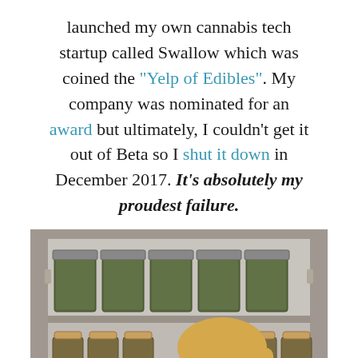launched my own cannabis tech startup called Swallow which was coined the "Yelp of Edibles". My company was nominated for an award but ultimately, I couldn't get it out of Beta so I shut it down in December 2017. It's absolutely my proudest failure.
[Figure (photo): A smiling blonde woman with glasses and tattoos posing in front of a cabinet filled with multiple shelves of glass jars containing cannabis.]